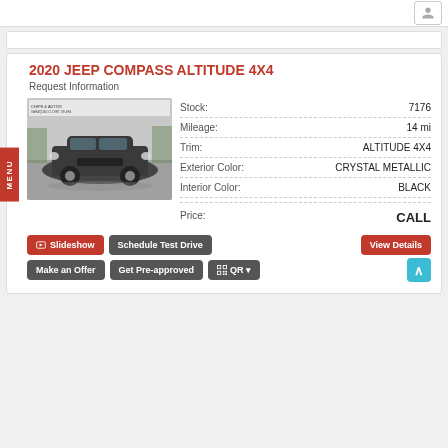2020 JEEP COMPASS ALTITUDE 4X4
Request Information
[Figure (photo): Photo of a 2020 Jeep Compass Altitude 4X4 in dark gray/metallic color, parked at a dealership lot]
| Attribute | Value |
| --- | --- |
| Stock: | 7176 |
| Mileage: | 14 mi |
| Trim: | ALTITUDE 4X4 |
| Exterior Color: | CRYSTAL METALLIC |
| Interior Color: | BLACK |
| Price: | CALL |
Slideshow
Schedule Test Drive
View Details
Make an Offer
Get Pre-approved
QR